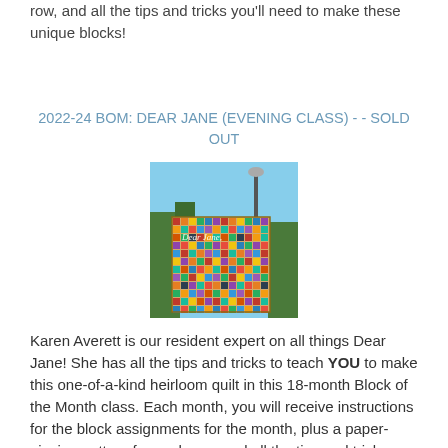row, and all the tips and tricks you'll need to make these unique blocks!
2022-24 BOM: DEAR JANE (EVENING CLASS) - - SOLD OUT
[Figure (photo): A colorful Dear Jane quilt displayed outdoors with a street lamp and greenery in the background. The quilt features hundreds of small, varied patchwork blocks. Text 'Dear Jane,' appears in script at the top of the quilt.]
Karen Averett is our resident expert on all things Dear Jane! She has all the tips and tricks to teach YOU to make this one-of-a-kind heirloom quilt in this 18-month Block of the Month class. Each month, you will receive instructions for the block assignments for the month, plus a paper-piecing pattern for each row, and all the tips and tricks you'll need to make these unique